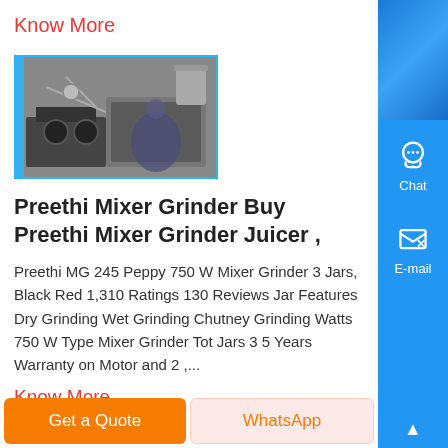Know More
[Figure (photo): Photo of a mixer grinder being serviced or disassembled outdoors]
Preethi Mixer Grinder Buy Preethi Mixer Grinder Juicer ,
Preethi MG 245 Peppy 750 W Mixer Grinder 3 Jars, Black Red 1,310 Ratings 130 Reviews Jar Features Dry Grinding Wet Grinding Chutney Grinding Watts 750 W Type Mixer Grinder Tot Jars 3 5 Years Warranty on Motor and 2 ,...
Know More
Get a Quote
WhatsApp